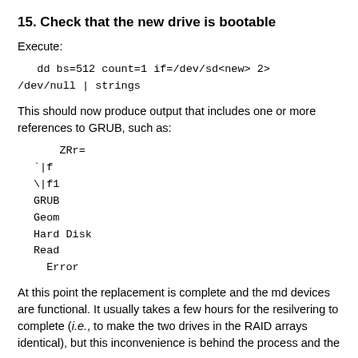15. Check that the new drive is bootable
Execute:
This should now produce output that includes one or more references to GRUB, such as:
At this point the replacement is complete and the md devices are functional. It usually takes a few hours for the resilvering to complete (i.e., to make the two drives in the RAID arrays identical), but this inconvenience is behind the process and the